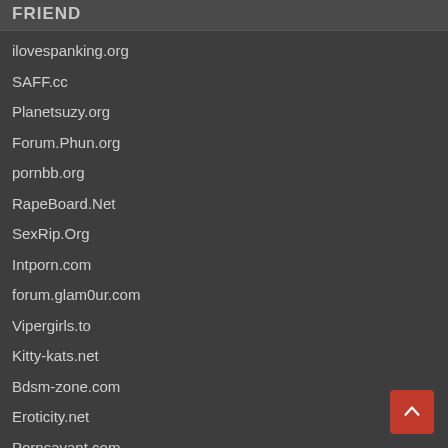FRIEND
ilovespanking.org
SAFF.cc
Planetsuzy.org
Forum.Phun.org
pornbb.org
RapeBoard.Net
SexRip.Org
Intporn.com
forum.glam0ur.com
Vipergirls.to
Kitty-kats.net
Bdsm-zone.com
Eroticity.net
Pornsavant.com
Boerse.sh